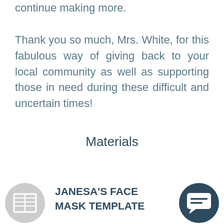continue making more.
Thank you so much, Mrs. White, for this fabulous way of giving back to your local community as well as supporting those in need during these difficult and uncertain times!
Materials
JANESA'S FACE MASK TEMPLATE